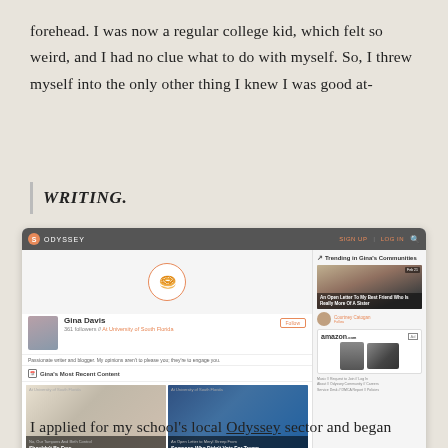forehead. I was now a regular college kid, which felt so weird, and I had no clue what to do with myself. So, I threw myself into the only other thing I knew I was good at-
WRITING.
[Figure (screenshot): Screenshot of Odyssey website showing profile page for Gina Davis with 361 followers at University of South Florida, recent articles including 'No, Our Tampons And Birth Control Shouldn't Be Free' and 'An Open Letter to Meryl Streep From Someone Who Didn't Vote For Trump', trending section showing 'An Open Letter To My Best Friend Who Is Really More Of A Sister' by Courtney Catogan, and an Amazon advertisement.]
I applied for my school's local Odyssey sector and began